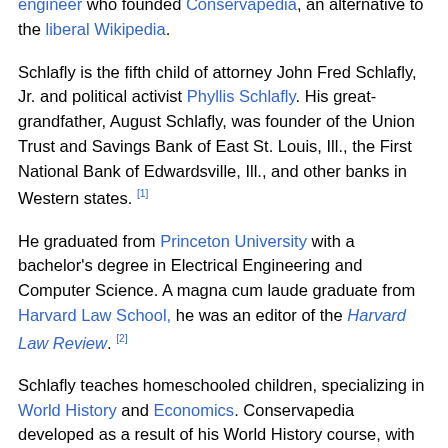engineer who founded Conservapedia, an alternative to the liberal Wikipedia.
Schlafly is the fifth child of attorney John Fred Schlafly, Jr. and political activist Phyllis Schlafly. His great-grandfather, August Schlafly, was founder of the Union Trust and Savings Bank of East St. Louis, Ill., the First National Bank of Edwardsville, Ill., and other banks in Western states. [1]
He graduated from Princeton University with a bachelor's degree in Electrical Engineering and Computer Science. A magna cum laude graduate from Harvard Law School, he was an editor of the Harvard Law Review. [2]
Schlafly teaches homeschooled children, specializing in World History and Economics. Conservapedia developed as a result of his World History course, with many lectures made available on the site for free. Schlafly and several of his former students continue to lead the project, with many